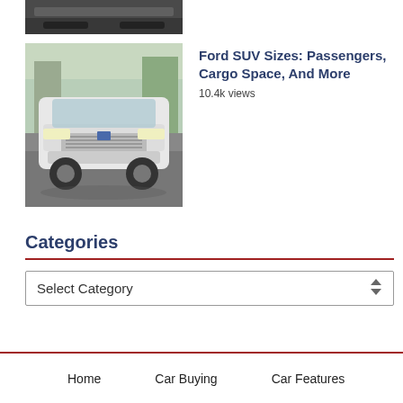[Figure (photo): Partial top of a dark car image, cropped at the top of the page]
[Figure (photo): Front view of a white Ford SUV (Explorer) on a street with trees in background]
Ford SUV Sizes: Passengers, Cargo Space, And More
10.4k views
Categories
Select Category
Home   Car Buying   Car Features